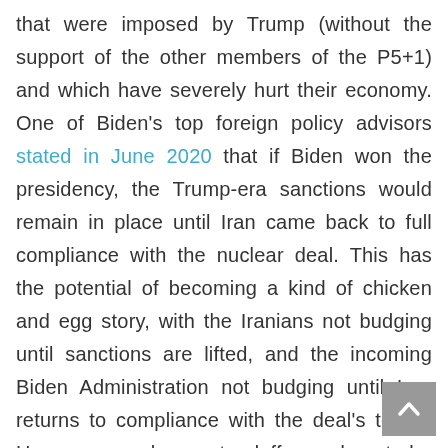that were imposed by Trump (without the support of the other members of the P5+1) and which have severely hurt their economy. One of Biden's top foreign policy advisors stated in June 2020 that if Biden won the presidency, the Trump-era sanctions would remain in place until Iran came back to full compliance with the nuclear deal. This has the potential of becoming a kind of chicken and egg story, with the Iranians not budging until sanctions are lifted, and the incoming Biden Administration not budging until Iran returns to compliance with the deal's terms. However, such a standoff need not be insurmountable. Clever diplomacy could get